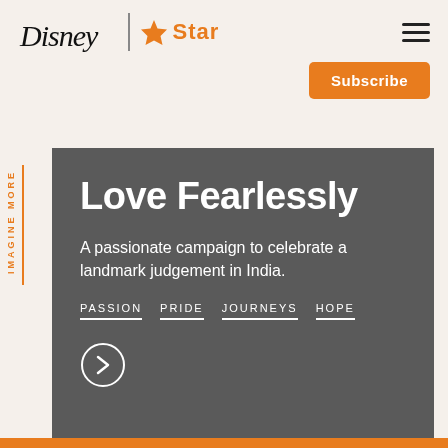[Figure (logo): Disney | Star logo with orange star icon and 'Star' text in orange]
Subscribe
IMAGINE MORE
Love Fearlessly
A passionate campaign to celebrate a landmark judgement in India.
PASSION   PRIDE   JOURNEYS   HOPE